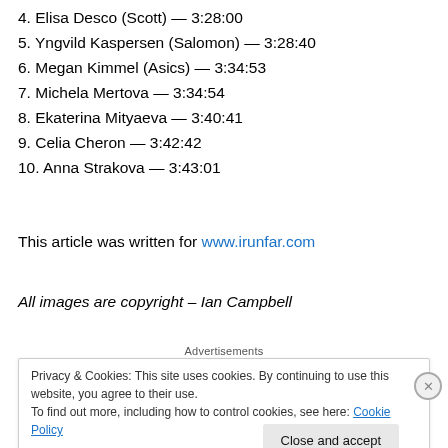4. Elisa Desco (Scott) — 3:28:00
5. Yngvild Kaspersen (Salomon) — 3:28:40
6. Megan Kimmel (Asics) — 3:34:53
7. Michela Mertova — 3:34:54
8. Ekaterina Mityaeva — 3:40:41
9. Celia Cheron — 3:42:42
10. Anna Strakova — 3:43:01
This article was written for www.irunfar.com
All images are copyright – Ian Campbell
Advertisements
Privacy & Cookies: This site uses cookies. By continuing to use this website, you agree to their use. To find out more, including how to control cookies, see here: Cookie Policy
Close and accept